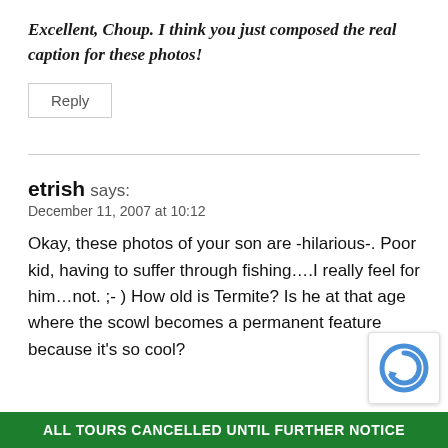Excellent, Choup. I think you just composed the real caption for these photos!
Reply
etrish says:
December 11, 2007 at 10:12
Okay, these photos of your son are -hilarious-. Poor kid, having to suffer through fishing….I really feel for him…not. ;- ) How old is Termite? Is he at that age where the scowl becomes a permanent feature because it's so cool?
ALL TOURS CANCELLED UNTIL FURTHER NOTICE